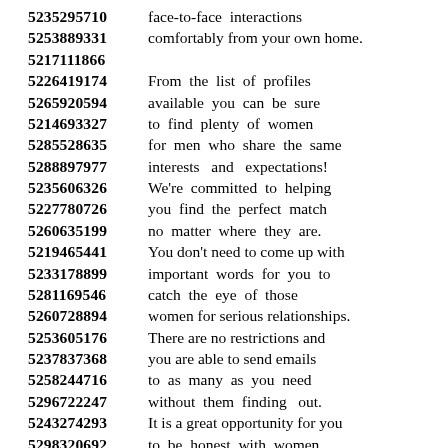5235295710 face-to-face interactions
5253889331 comfortably from your own home.
5217111866
5226419174 From the list of profiles
5265920594 available you can be sure
5214693327 to find plenty of women
5285528635 for men who share the same
5288897977 interests and expectations!
5235606326 We're committed to helping
5227780726 you find the perfect match
5260635199 no matter where they are.
5219465441 You don't need to come up with
5233178899 important words for you to
5281169546 catch the eye of those
5260728894 women for serious relationships.
5253605176 There are no restrictions and
5237837368 you are able to send emails
5258244716 to as many as you need
5296722247 without them finding out.
5243274293 It is a great opportunity for you
5298320692 to be honest with women
5231299329 and share any questions
5247405249 or concerns that you may have
5213322639 that you would not share
5270382228 in reality or common sense.